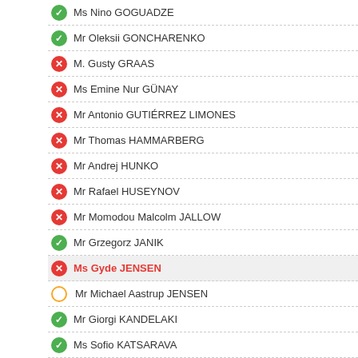Ms Nino GOGUADZE
Mr Oleksii GONCHARENKO
M. Gusty GRAAS
Ms Emine Nur GÜNAY
Mr Antonio GUTIÉRREZ LIMONES
Mr Thomas HAMMARBERG
Mr Andrej HUNKO
Mr Rafael HUSEYNOV
Mr Momodou Malcolm JALLOW
Mr Grzegorz JANIK
Ms Gyde JENSEN
Mr Michael Aastrup JENSEN
Mr Giorgi KANDELAKI
Ms Sofio KATSARAVA
Mr Eduard KÖCK
Mr František KOPŘIVA
Ms Elvira KOVÁCS